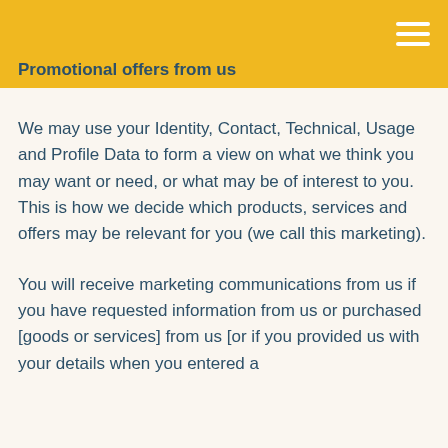Promotional offers from us
We may use your Identity, Contact, Technical, Usage and Profile Data to form a view on what we think you may want or need, or what may be of interest to you. This is how we decide which products, services and offers may be relevant for you (we call this marketing).
You will receive marketing communications from us if you have requested information from us or purchased [goods or services] from us [or if you provided us with your details when you entered a competition or registered for a promotion] and